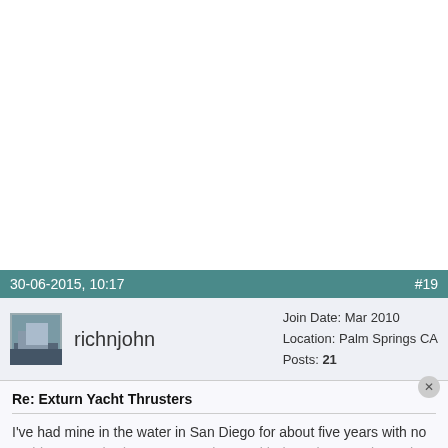30-06-2015, 10:17   #19
richnjohn   Join Date: Mar 2010   Location: Palm Springs CA   Posts: 21
Re: Exturn Yacht Thrusters
I've had mine in the water in San Diego for about five years with no problems. I've had a great experience with the sales rep Alex. When run into him at boat shows and he still remembers my name. Here are